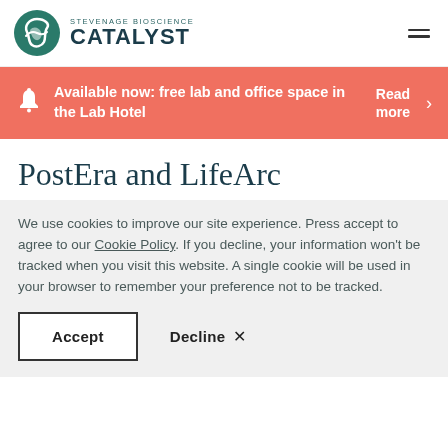[Figure (logo): Stevenage Bioscience Catalyst logo with teal circular emblem and text]
Available now: free lab and office space in the Lab Hotel  Read more
PostEra and LifeArc
We use cookies to improve our site experience. Press accept to agree to our Cookie Policy. If you decline, your information won't be tracked when you visit this website. A single cookie will be used in your browser to remember your preference not to be tracked.
Accept   Decline